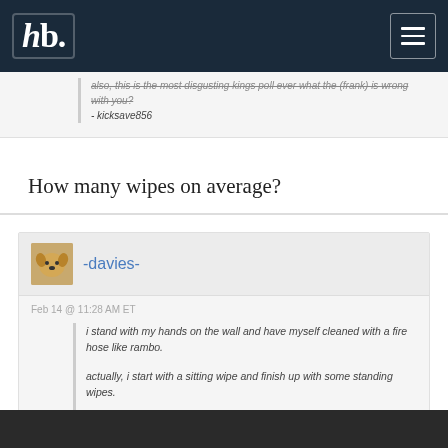hb (logo) - site header with hamburger menu
also, this is the most disgusting kings poll ever what the (frank) is wrong with you?
- kicksave856
How many wipes on average?
-davies-
Feb 14 @ 11:28 AM ET
i stand with my hands on the wall and have myself cleaned with a fire hose like rambo.
actually, i start with a sitting wipe and finish up with some standing wipes.
also, this is the most disgusting kings poll ever what the (frank) is wrong with you?
- kicksave856